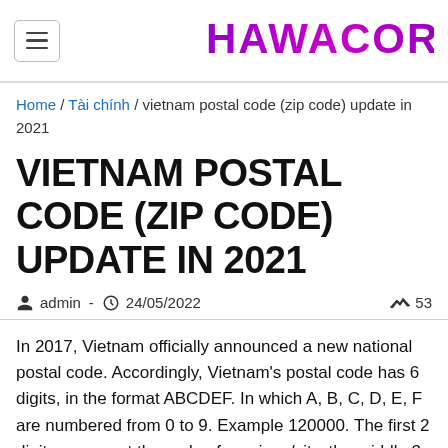HAWACORP
Home / Tài chính / vietnam postal code (zip code) update in 2021
VIETNAM POSTAL CODE (ZIP CODE) UPDATE IN 2021
admin - 24/05/2022   53
In 2017, Vietnam officially announced a new national postal code. Accordingly, Vietnam's postal code has 6 digits, in the format ABCDEF. In which A, B, C, D, E, F are numbered from 0 to 9. Example 120000. The first 2 digits represent the code of province/city, the middle 2 digits represent the district and the last 2 digits...